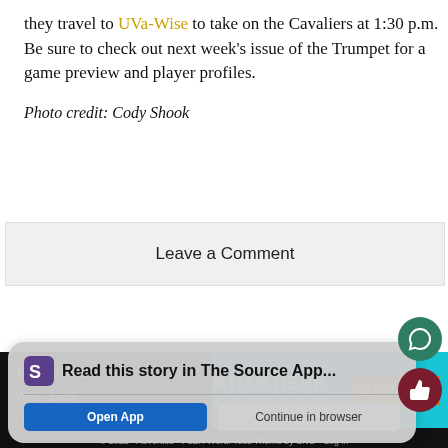they travel to UVa-Wise to take on the Cavaliers at 1:30 p.m. Be sure to check out next week's issue of the Trumpet for a game preview and player profiles.
Photo credit: Cody Shook
Leave a Comment
[Figure (infographic): SNO ads banner: cyan background with SNO logo, person with backpack pointing, text ADVERTISE HERE and support student journalism, orange GET STARTED button]
THE TRUMPET
West Liberty University
205 University Drive
West Liberty, WV
26074
Read this story in The Source App...
© 2022 • Advertise • FLEX WordPress Theme by SNO • Log in
Open App    Continue in browser